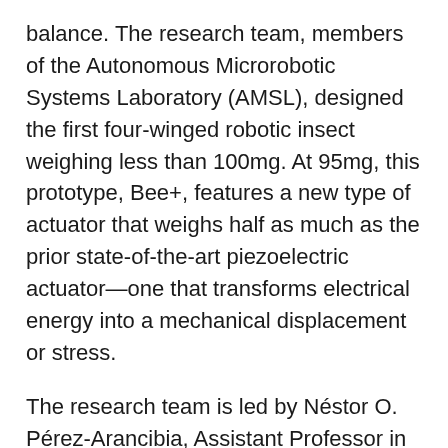balance. The research team, members of the Autonomous Microrobotic Systems Laboratory (AMSL), designed the first four-winged robotic insect weighing less than 100mg. At 95mg, this prototype, Bee+, features a new type of actuator that weighs half as much as the prior state-of-the-art piezoelectric actuator—one that transforms electrical energy into a mechanical displacement or stress.
The research team is led by Néstor O. Pérez-Arancibia, Assistant Professor in the USC Viterbi Department of Aerospace and Mechanical Engineering (AME) and includes AME PhD candidates Xiufeng Yang and Ariel A. Calderón, as well as recent AMSL PhD graduates Ying Chen and Longlong Chang.
“This new actuator and a new robotic configuration enabled us to integrate four wings inside the same envelope as that of the prior two-winged prototype,” said Pérez-Arancibia. “The